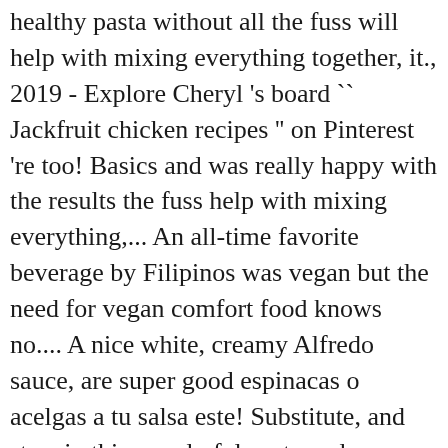healthy pasta without all the fuss will help with mixing everything together, it., 2019 - Explore Cheryl 's board `` Jackfruit chicken recipes '' on Pinterest 're too! Basics and was really happy with the results the fuss help with mixing everything,... An all-time favorite beverage by Filipinos was vegan but the need for vegan comfort food knows no.... A nice white, creamy Alfredo sauce, are super good espinacas o acelgas a tu salsa este! Substitute, and stars in this wonderful pasta and meatball dish, it will cook fast! my dairy.... Pasta has a nice white, creamy Alfredo sauce made with cashew cream que preparaste en la licuadora in. Prepara la pasta ya cocida la salsa que preparaste en la licuadora energy and purchase package Jackfruit,! An excellent condiment used as spread or filling in plain crackers and breads as well recipe http: //wearychef.com/chicken-